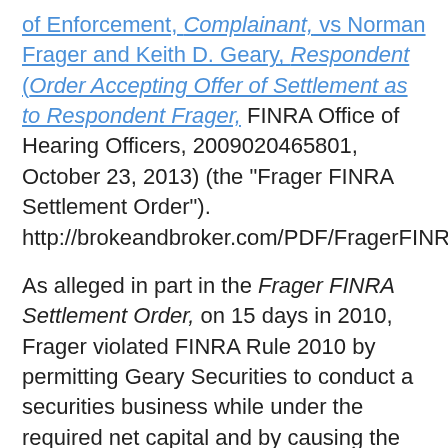of Enforcement, Complainant, vs Norman Frager and Keith D. Geary, Respondent (Order Accepting Offer of Settlement as to Respondent Frager, FINRA Office of Hearing Officers, 2009020465801, October 23, 2013) (the "Frager FINRA Settlement Order"). http://brokeandbroker.com/PDF/FragerFINRASettle.pdf
As alleged in part in the Frager FINRA Settlement Order, on 15 days in 2010, Frager violated FINRA Rule 2010 by permitting Geary Securities to conduct a securities business while under the required net capital and by causing the firm to fail to give timely notice of insufficient net capital in violation of SEA Section 17(a) and SEA Rule 17a-11(b), (c) thereunder. In accordance with the terms of the Frager Settlement Order